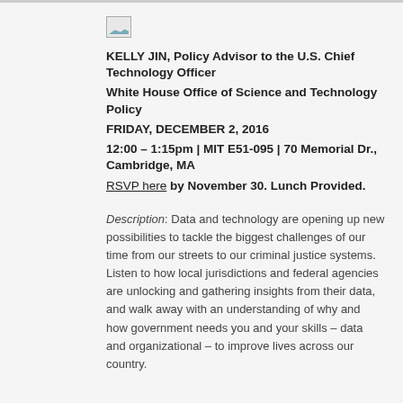[Figure (illustration): Small broken image placeholder icon]
KELLY JIN, Policy Advisor to the U.S. Chief Technology Officer
White House Office of Science and Technology Policy
FRIDAY, DECEMBER 2, 2016
12:00 – 1:15pm | MIT E51-095 | 70 Memorial Dr., Cambridge, MA
RSVP here by November 30. Lunch Provided.
Description: Data and technology are opening up new possibilities to tackle the biggest challenges of our time from our streets to our criminal justice systems. Listen to how local jurisdictions and federal agencies are unlocking and gathering insights from their data, and walk away with an understanding of why and how government needs you and your skills – data and organizational – to improve lives across our country.